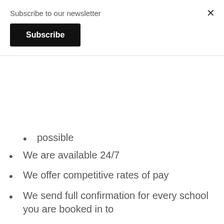Subscribe to our newsletter
Subscribe
possible
We are available 24/7
We offer competitive rates of pay
We send full confirmation for every school you are booked in to
TESTIMONIALS
Schools
Independent, based in the area and reliable
We provide local, high quality teaching